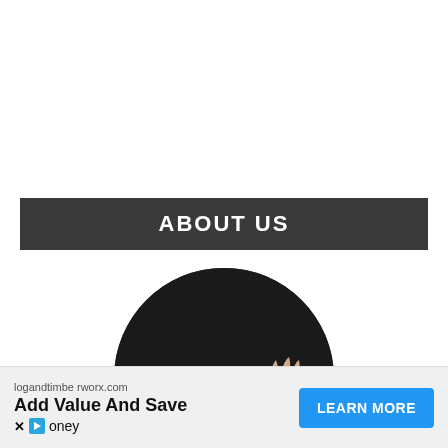ABOUT US
[Figure (photo): Circular cropped photo of a person's hands carving or working on a piece of wood with a tool, set against a dark background]
logandtimberworx.com
Add Value And Save
[X] [play] oney
LEARN MORE